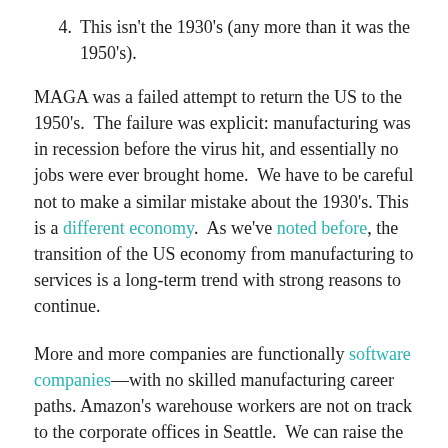4. This isn't the 1930's (any more than it was the 1950's).
MAGA was a failed attempt to return the US to the 1950's.  The failure was explicit: manufacturing was in recession before the virus hit, and essentially no jobs were ever brought home.  We have to be careful not to make a similar mistake about the 1930's. This is a different economy.  As we've noted before, the transition of the US economy from manufacturing to services is a long-term trend with strong reasons to continue.
More and more companies are functionally software companies—with no skilled manufacturing career paths. Amazon's warehouse workers are not on track to the corporate offices in Seattle.  We can raise the minimum wage, but no combination of tariffs or other government